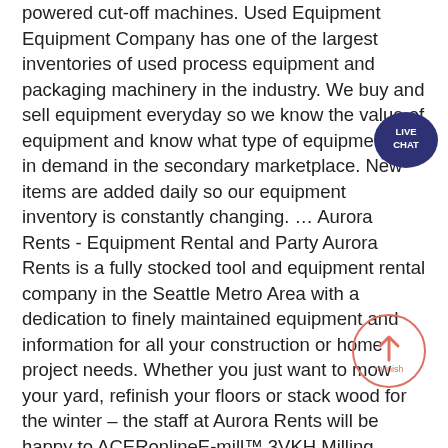powered cut-off machines. Used Equipment Equipment Company has one of the largest inventories of used process equipment and packaging machinery in the industry. We buy and sell equipment everyday so we know the value of equipment and know what type of equipment is in demand in the secondary marketplace. New items are added daily so our equipment inventory is constantly changing. … Aurora Rents - Equipment Rental and Party Aurora Rents is a fully stocked tool and equipment rental company in the Seattle Metro Area with a dedication to finely maintained equipment and information for all your construction or home project needs. Whether you just want to mow your yard, refinish your floors or stack wood for the winter – the staff at Aurora Rents will be happy to ACERonlineE-mill™ 3VKH Milling Machine (Grey color available) AGS-1224AHD: Model/Part #: AGS-1224AHD Surface Grinder Dynamic-2160GH: Model/Part #: Dynamic-2160GH Engine Lathe E-lathe™ 30100V: Model/Part #: E-lathe™ 30100V
[Figure (infographic): Live Chat speech bubble icon with dark blue/navy background and white text reading LIVE CHAT]
[Figure (infographic): A circular outline badge/button with an upward arrow icon and the word 'refinish' in orange/salmon text inside]